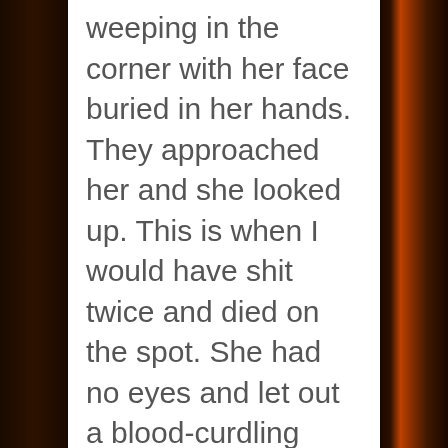weeping in the corner with her face buried in her hands. They approached her and she looked up. This is when I would have shit twice and died on the spot. She had no eyes and let out a blood-curdling scream causing the workers to flee from the building for their